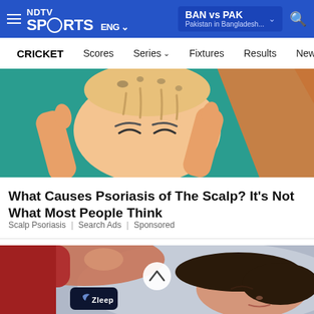NDTV Sports ENG | BAN vs PAK - Pakistan in Bangladesh...
CRICKET | Scores | Series | Fixtures | Results | News
[Figure (illustration): Illustrated cartoon image of a bald human head with scalp psoriasis markings, surrounded by hands/arms on a teal background]
What Causes Psoriasis of The Scalp? It’s Not What Most People Think
Scalp Psoriasis | Search Ads | Sponsored
[Figure (photo): Woman lying down with a Zleep sleep tracker device on her arm, resting on a bed. A scroll-up button is overlaid in the center of the image.]